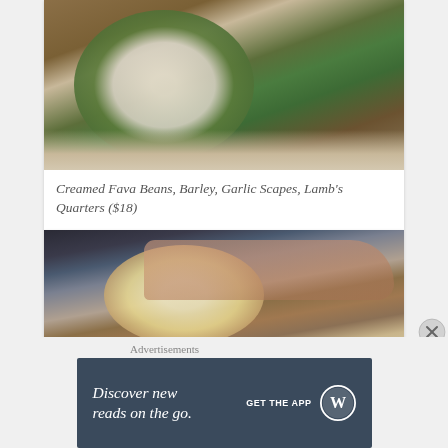[Figure (photo): A bowl of creamed fava beans with barley, garlic scapes, and lamb's quarters on a wooden table, with an open book visible to the left and a white plate below]
Creamed Fava Beans, Barley, Garlic Scapes, Lamb's Quarters ($18)
[Figure (photo): A bowl of food on a wooden table with a person's hands resting nearby, cutlery visible to the right]
Advertisements
[Figure (screenshot): WordPress app advertisement banner: 'Discover new reads on the go. GET THE APP' with WordPress logo]